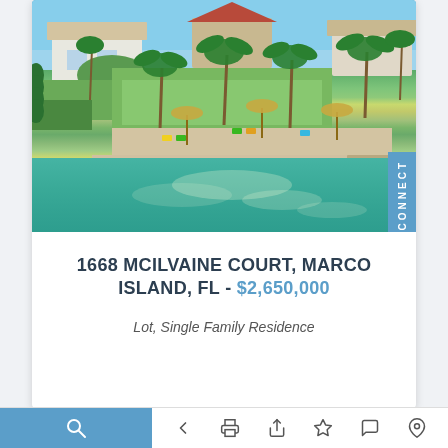[Figure (photo): Aerial photograph of waterfront property at 1668 McIlvaine Court, Marco Island, FL. Shows luxury homes surrounded by palm trees and tropical vegetation, with a canal/waterway in the foreground featuring a dock. Outdoor seating area with tiki-style umbrellas visible near the water.]
1668 MCILVAINE COURT, MARCO ISLAND, FL - $2,650,000
Lot, Single Family Residence